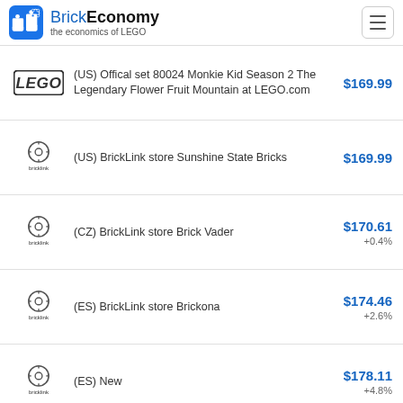BrickEconomy – the economics of LEGO
(US) Offical set 80024 Monkie Kid Season 2 The Legendary Flower Fruit Mountain at LEGO.com — $169.99
(US) BrickLink store Sunshine State Bricks — $169.99
(CZ) BrickLink store Brick Vader — $170.61 +0.4%
(ES) BrickLink store Brickona — $174.46 +2.6%
(ES) New — $178.11 +4.8%